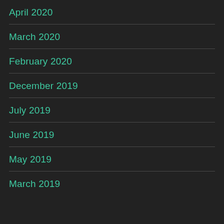April 2020
March 2020
February 2020
December 2019
July 2019
June 2019
May 2019
March 2019